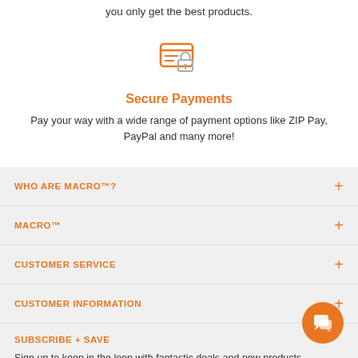you only get the best products.
[Figure (illustration): Secure payments icon — a horizontal lines/card icon with a padlock, in orange]
Secure Payments
Pay your way with a wide range of payment options like ZIP Pay, PayPal and many more!
WHO ARE MACRO™?
MACRO™
CUSTOMER SERVICE
CUSTOMER INFORMATION
SUBSCRIBE + SAVE
Sign up to keep in the loop with fantastic deals and new products.